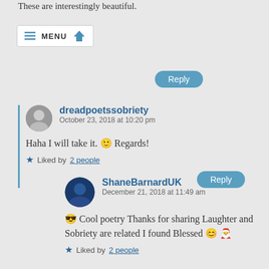These are interestingly beautiful.
[Figure (screenshot): Navigation menu bar with hamburger icon, MENU text, and home icon]
Reply
dreadpoetssobriety
October 23, 2018 at 10:20 pm

Haha I will take it. 🙂 Regards!

★ Liked by 2 people

Reply
ShaneBarnardUK
December 21, 2018 at 11:49 am

😎 Cool poetry Thanks for sharing Laughter and Sobriety are related I found Blessed 😊 🎅

★ Liked by 2 people